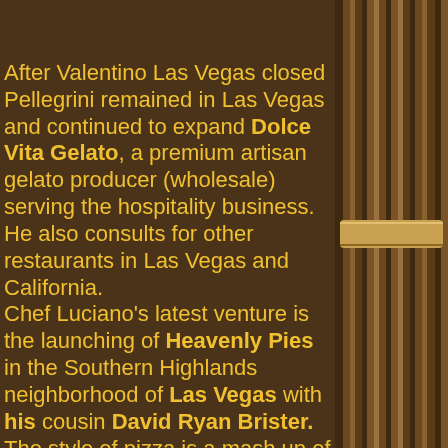After Valentino Las Vegas closed Pellegrini remained in Las Vegas and continued to expand Dolce Vita Gelato, a premium artisan gelato producer (wholesale) serving the hospitality business. He also consults for other restaurants in Las Vegas and California.
Chef Luciano's latest venture is the launching of Heavenly Pies in the Southern Highlands neighborhood of Las Vegas with his cousin David Ryan Brister. The style of pizza is a mash up of Roman and Neapolitan varieties with premium ingredients. The signature Heavenly Pizza features black truffle tomato, brie cheese, porcini mushrooms, roasted garlic, speck and escarole.
[Figure (illustration): Decorative dark brown column/pillar on the right side of the page]